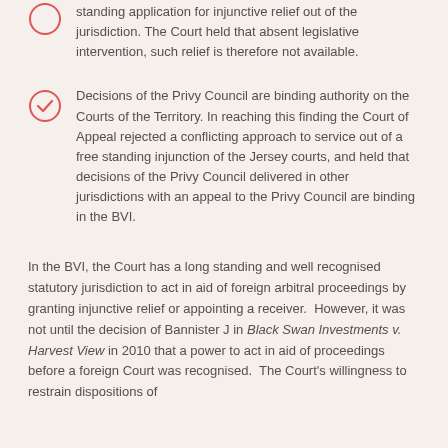standing application for injunctive relief out of the jurisdiction. The Court held that absent legislative intervention, such relief is therefore not available.
Decisions of the Privy Council are binding authority on the Courts of the Territory. In reaching this finding the Court of Appeal rejected a conflicting approach to service out of a free standing injunction of the Jersey courts, and held that decisions of the Privy Council delivered in other jurisdictions with an appeal to the Privy Council are binding in the BVI.
In the BVI, the Court has a long standing and well recognised statutory jurisdiction to act in aid of foreign arbitral proceedings by granting injunctive relief or appointing a receiver. However, it was not until the decision of Bannister J in Black Swan Investments v. Harvest View in 2010 that a power to act in aid of proceedings before a foreign Court was recognised. The Court's willingness to restrain dispositions of